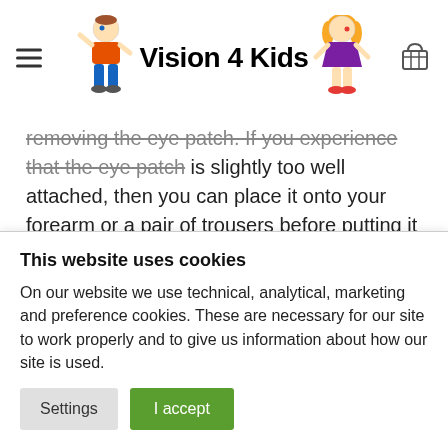Vision 4 Kids
removing the eye patch. If you experience that the eye patch is slightly too well attached, then you can place it onto your forearm or a pair of trousers before putting it on your child's eye. In doing so, you remove some of the glue's sticky quality, so it is unable to stick quite as well to the skin.
Size
This website uses cookies
On our website we use technical, analytical, marketing and preference cookies. These are necessary for our site to work properly and to give us information about how our site is used.